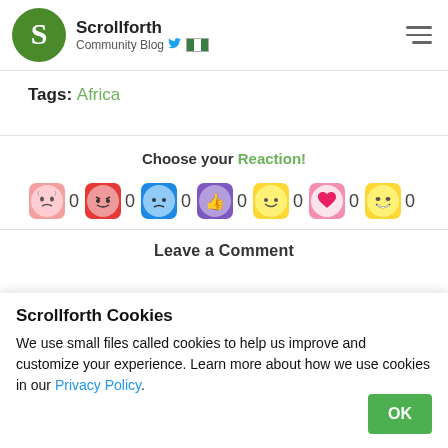Scrollforth — Community Blog
Tags: Africa
Choose your Reaction!
[Figure (infographic): Row of emoji reaction icons with counts: crying/scared face 0, angry red face 0, sad blue face 0, thumbs up purple 0, smiling face 0, pink heart 0, laughing face 0]
Leave a Comment
Scrollforth Cookies
We use small files called cookies to help us improve and customize your experience. Learn more about how we use cookies in our Privacy Policy.